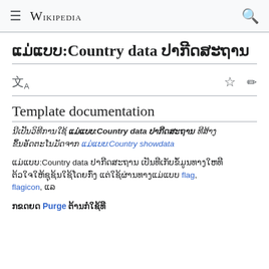≡ WIKIPEDIA 🔍
ແມ່ແບບ:Country data ປາກີດສະຖານ
文A  ☆ ✎
Template documentation
ນີເປັນວິທີການໃຊ້ ແມ່ແບບ:Country data ປາກີດສະຖານ ທີສ້າງຂຶ້ນອັດຕະໂນມັດຈາກ ແມ່ແບບ:Country showdata
ແມ່ແບບ:Country data ປາກີດສະຖານ ເປັນທີເກັບຂໍ້ມູນທາງໃຫທີ່ຕ້ວໃຈໃຫ້ຊຸຊ້ນໃຊ້ໂດຍກົ່ງ ແຕ່ໃຊ້ຜ່ານທາງແມ່ແບບ flag, flagicon, ແລ
ກຂດຍດ Purge ຕ້ານກໍໃຊ້ທີ